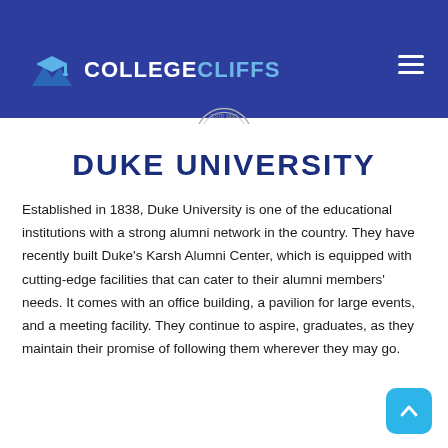COLLEGE CLIFFS
[Figure (logo): College Cliffs logo with graduation cap icon and hamburger menu icon on dark blue background]
[Figure (illustration): Partial circular seal/emblem at top center of content area]
DUKE UNIVERSITY
Established in 1838, Duke University is one of the educational institutions with a strong alumni network in the country. They have recently built Duke's Karsh Alumni Center, which is equipped with cutting-edge facilities that can cater to their alumni members' needs. It comes with an office building, a pavilion for large events, and a meeting facility. They continue to aspire, graduates, as they maintain their promise of following them wherever they may go.